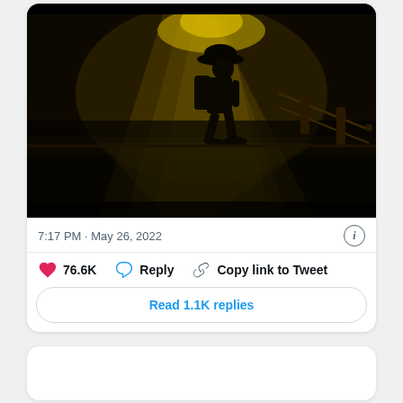[Figure (photo): Silhouette of an adventurer wearing a hat and backpack, walking through a dark cave or corridor with dramatic golden/yellow light rays streaming down from above, creating a cinematic atmosphere.]
7:17 PM · May 26, 2022
76.6K  Reply  Copy link to Tweet
Read 1.1K replies